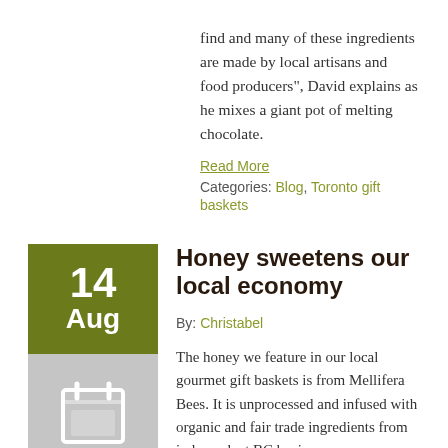find and many of these ingredients are made by local artisans and food producers", David explains as he mixes a giant pot of melting chocolate.
Read More
Categories: Blog, Toronto gift baskets
Honey sweetens our local economy
By: Christabel
The honey we feature in our local gourmet gift baskets is from Mellifera Bees. It is unprocessed and infused with organic and fair trade ingredients from independent BC businesses.
Read More